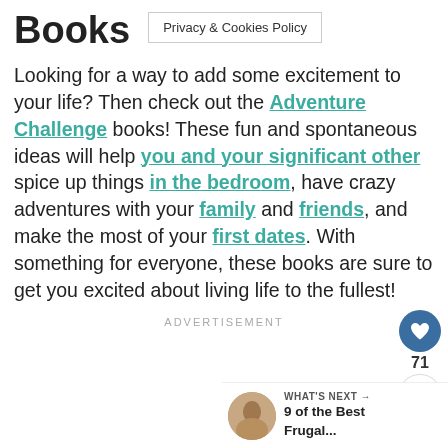Books
Privacy & Cookies Policy
Looking for a way to add some excitement to your life? Then check out the Adventure Challenge books! These fun and spontaneous ideas will help you and your significant other spice up things in the bedroom, have crazy adventures with your family and friends, and make the most of your first dates. With something for everyone, these books are sure to get you excited about living life to the fullest!
ADVERTISEMENT
WHAT'S NEXT → 9 of the Best Frugal...